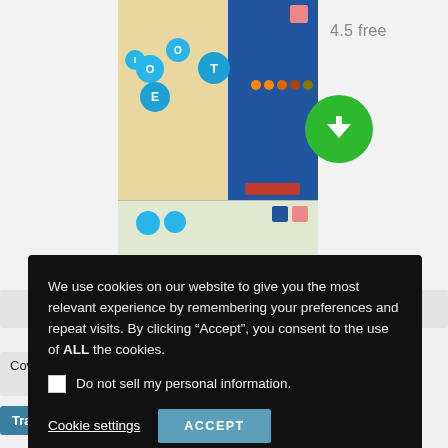[Figure (screenshot): App store screenshot showing a word game app with blue circles containing letters on a map background]
4.5 free
[Figure (illustration): Green circular download button with white downward arrow]
We use cookies on our website to give you the most relevant experience by remembering your preferences and repeat visits. By clicking “Accept”, you consent to the use of ALL the cookies.
Do not sell my personal information.
Cookie settings
ACCEPT
coronavirus
covid-19
Covid-19 measures
Croatia
Translate »
n
Croatia tourism
Croatia Travel